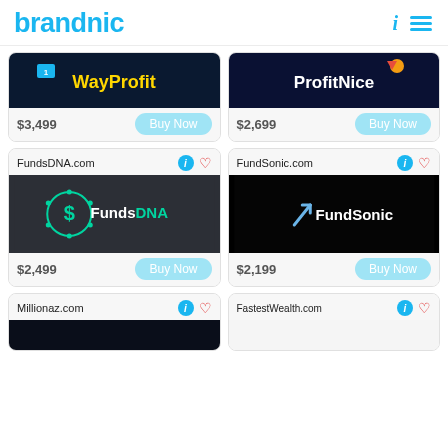brandnic
[Figure (logo): Partial card top - WayProfit logo on dark navy background, price $3,499]
[Figure (logo): Partial card top - ProfitNice logo on dark navy background, price $2,699]
FundsDNA.com
[Figure (logo): FundsDNA logo - dark charcoal background with teal circle DNA/dollar icon and FundsDNA text]
$2,499
FundSonic.com
[Figure (logo): FundSonic logo - black background with diagonal upward arrow icon and FundSonic text in white]
$2,199
Millionaz.com
FastestWealth.com